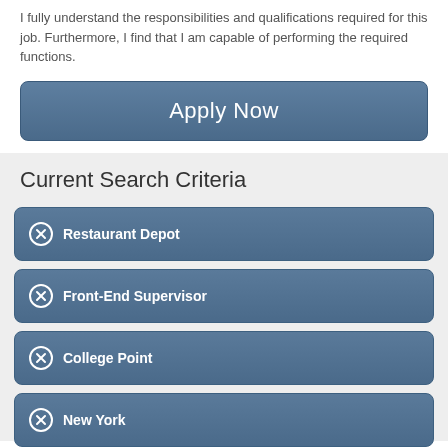I fully understand the responsibilities and qualifications required for this job. Furthermore, I find that I am capable of performing the required functions.
[Figure (screenshot): Apply Now button — large rounded rectangle with steel blue gradient background and white text]
Current Search Criteria
Restaurant Depot
Front-End Supervisor
College Point
New York
Clear All